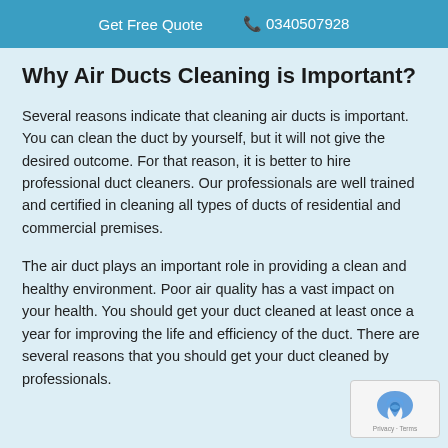Get Free Quote   📞 0340507928
Why Air Ducts Cleaning is Important?
Several reasons indicate that cleaning air ducts is important. You can clean the duct by yourself, but it will not give the desired outcome. For that reason, it is better to hire professional duct cleaners. Our professionals are well trained and certified in cleaning all types of ducts of residential and commercial premises.
The air duct plays an important role in providing a clean and healthy environment. Poor air quality has a vast impact on your health. You should get your duct cleaned at least once a year for improving the life and efficiency of the duct. There are several reasons that you should get your duct cleaned by professionals.